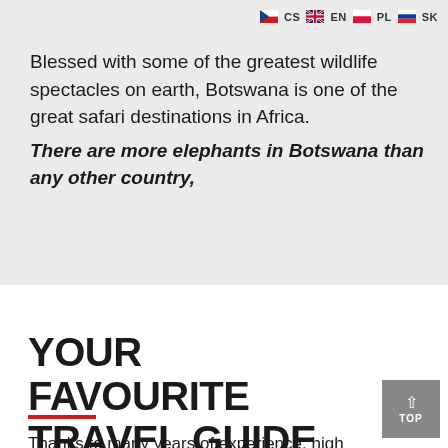CS EN PL SK
Blessed with some of the greatest wildlife spectacles on earth, Botswana is one of the great safari destinations in Africa. There are more elephants in Botswana than any other country,
YOUR FAVOURITE TRAVEL GUIDE
Thanks to many years of experience, high professionalism of employees and mutual